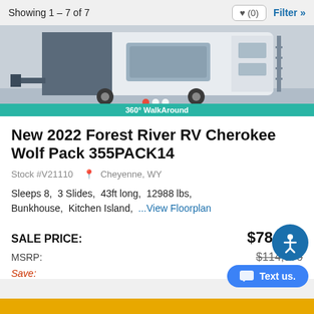Showing 1 – 7 of 7
[Figure (photo): Exterior photo of an RV/travel trailer with a 360° WalkAround banner at the bottom]
New 2022 Forest River RV Cherokee Wolf Pack 355PACK14
Stock #V21110   Cheyenne, WY
Sleeps 8,  3 Slides,  43ft long,  12988 lbs,  Bunkhouse,  Kitchen Island,  ...View Floorplan
SALE PRICE:  $78,995
MSRP:  $114,876
Save: